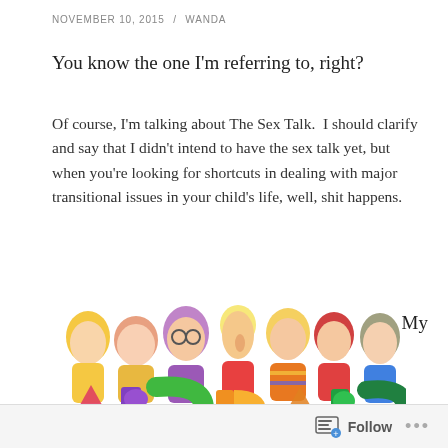NOVEMBER 10, 2015 / WANDA
You know the one I'm referring to, right?
Of course, I'm talking about The Sex Talk.  I should clarify and say that I didn't intend to have the sex talk yet, but when you're looking for shortcuts in dealing with major transitional issues in your child's life, well, shit happens.
[Figure (illustration): Cartoon illustration of a group of smiling children/characters holding colorful ABC letters]
My
Follow ...